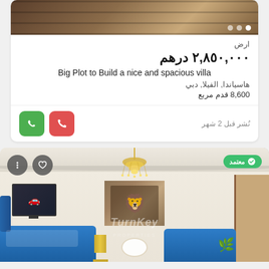[Figure (photo): Property listing card top image showing bookshelves/interior with dot navigation indicators]
ارض
٢,٨٥٠,٠٠٠ درهم
Big Plot to Build a nice and spacious villa
هاسياندا, الفيلا, دبي
8,600 قدم مربع
نُشر قبل 2 شهر
[Figure (photo): Interior photo of a luxury living room with chandelier, blue sofas, lion artwork, TV, and TurnKey Properties watermark. Has verified badge, menu and favorite icons.]